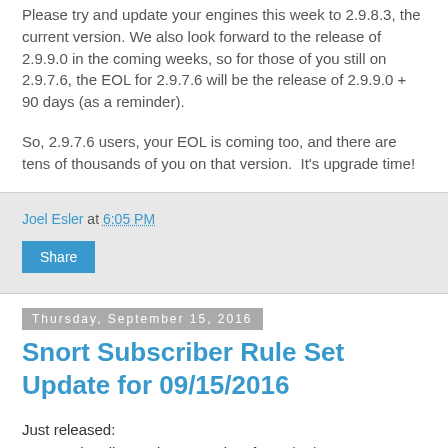Please try and update your engines this week to 2.9.8.3, the current version. We also look forward to the release of 2.9.9.0 in the coming weeks, so for those of you still on 2.9.7.6, the EOL for 2.9.7.6 will be the release of 2.9.9.0 + 90 days (as a reminder).
So, 2.9.7.6 users, your EOL is coming too, and there are tens of thousands of you on that version.  It's upgrade time!
Joel Esler at 6:05 PM
Share
Thursday, September 15, 2016
Snort Subscriber Rule Set Update for 09/15/2016
Just released:
Snort Subscriber Rule Set Update for 09/15/2016